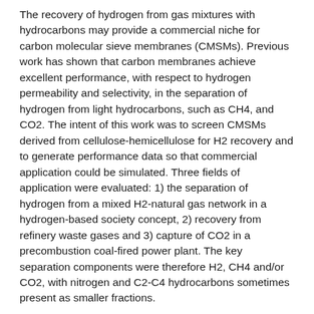The recovery of hydrogen from gas mixtures with hydrocarbons may provide a commercial niche for carbon molecular sieve membranes (CMSMs). Previous work has shown that carbon membranes achieve excellent performance, with respect to hydrogen permeability and selectivity, in the separation of hydrogen from light hydrocarbons, such as CH4, and CO2. The intent of this work was to screen CMSMs derived from cellulose-hemicellulose for H2 recovery and to generate performance data so that commercial application could be simulated. Three fields of application were evaluated: 1) the separation of hydrogen from a mixed H2-natural gas network in a hydrogen-based society concept, 2) recovery from refinery waste gases and 3) capture of CO2 in a precombustion coal-fired power plant. The key separation components were therefore H2, CH4 and/or CO2, with nitrogen and C2-C4 hydrocarbons sometimes present as smaller fractions.
The precursor material was an 80% cellulose-20% hemicellulose mixture derived from spruce and pine pulp. The final carbonization temperature was varied between 375°C and 700°C and a separation performance maximum found at about 650°C. Membranes carbonized at the low end had not yet developed sufficient porosity, whereas those carbonized at 700°C had experienced extensive pore closure. Copper (II) nitrate and silver